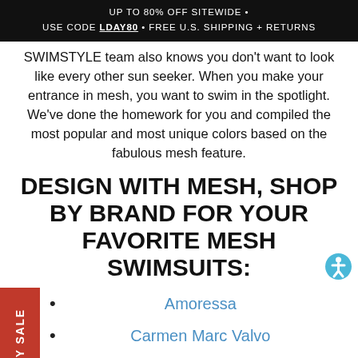UP TO 80% OFF SITEWIDE • USE CODE LDAY80 • FREE U.S. SHIPPING + RETURNS
SWIMSTYLE team also knows you don't want to look like every other sun seeker. When you make your entrance in mesh, you want to swim in the spotlight. We've done the homework for you and compiled the most popular and most unique colors based on the fabulous mesh feature.
DESIGN WITH MESH, SHOP BY BRAND FOR YOUR FAVORITE MESH SWIMSUITS:
Amoressa
Carmen Marc Valvo
JETS by Jessiaca Allen
Magicsuit
Anne Cole
Coco Contours